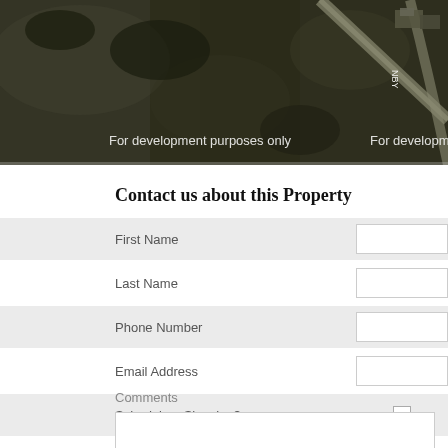[Figure (photo): Aerial satellite map view of a property area showing dark terrain, trees, roads, and buildings. Two 'For development purposes only' watermarks are overlaid on the image. A road label appears vertically on the right side.]
Contact us about this Property
| Field | Input |
| --- | --- |
| First Name |  |
| Last Name |  |
| Phone Number |  |
| Email Address |  |
| Schedule a Showing? | ☐ |
Comments